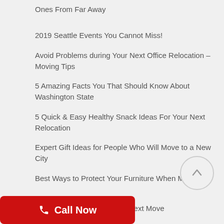Ones From Far Away
2019 Seattle Events You Cannot Miss!
Avoid Problems during Your Next Office Relocation – Moving Tips
5 Amazing Facts You That Should Know About Washington State
5 Quick & Easy Healthy Snack Ideas For Your Next Relocation
Expert Gift Ideas for People Who Will Move to a New City
Best Ways to Protect Your Furniture When Moving
g Bed Damage During Your Next Move